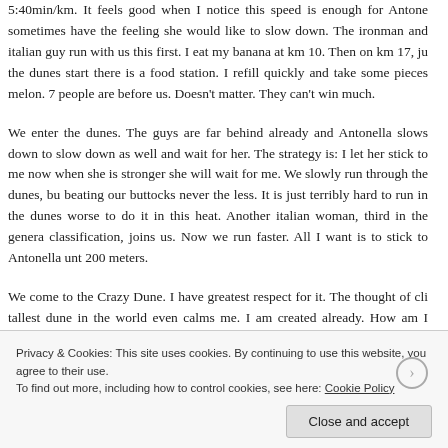5:40min/km. It feels good when I notice this speed is enough for Antone sometimes have the feeling she would like to slow down. The ironman an italian guy run with us this first. I eat my banana at km 10. Then on km 17, j the dunes start there is a food station. I refill quickly and take some pieces melon. 7 people are before us. Doesn't matter. They can't win much.
We enter the dunes. The guys are far behind already and Antonella slows down to slow down as well and wait for her. The strategy is: I let her stick to me now when she is stronger she will wait for me. We slowly run through the dunes, bu beating our buttocks never the less. It is just terribly hard to run in the dunes worse to do it in this heat. Another italian woman, third in the genera classification, joins us. Now we run faster. All I want is to stick to Antonella unt 200 meters.
We come to the Crazy Dune. I have greatest respect for it. The thought of cli tallest dune in the world even calms me. I am created already. How am I going it the
Privacy & Cookies: This site uses cookies. By continuing to use this website, you agree to their use.
To find out more, including how to control cookies, see here: Cookie Policy